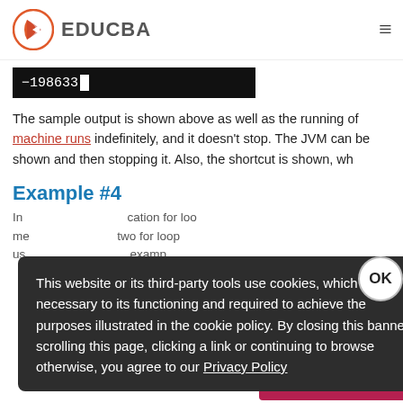EDUCBA
[Figure (screenshot): Black terminal/console output showing: -198633 with cursor]
The sample output is shown above as well as the running of machine runs indefinitely, and it doesn't stop. The JVM can be shown and then stopping it. Also, the shortcut is shown, wh
Example #4
In … cation for loop me… and data for … two for loops us… example
[Figure (screenshot): Cookie consent modal overlay on dark background reading: This website or its third-party tools use cookies, which are necessary to its functioning and required to achieve the purposes illustrated in the cookie policy. By closing this banner, scrolling this page, clicking a link or continuing to browse otherwise, you agree to our Privacy Policy]
Popular Course in this category